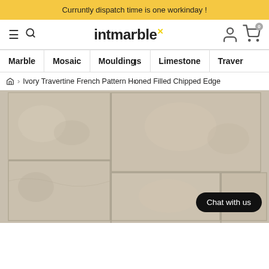Curruntly dispatch time is one workinday !
[Figure (logo): intmarble logo with green dot and yellow x superscript]
Marble | Mosaic | Mouldings | Limestone | Traver
Home > Ivory Travertine French Pattern Honed Filled Chipped Edge
[Figure (photo): Ivory travertine stone tiles in a French pattern layout, honed filled with chipped edges, shown in a beige/cream color]
Chat with us